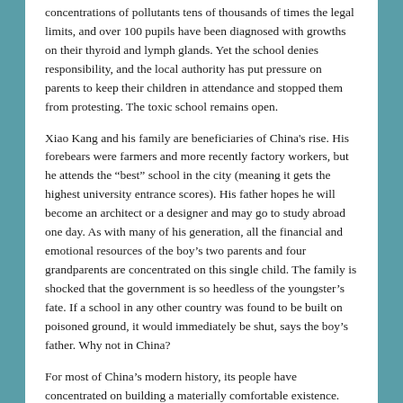concentrations of pollutants tens of thousands of times the legal limits, and over 100 pupils have been diagnosed with growths on their thyroid and lymph glands. Yet the school denies responsibility, and the local authority has put pressure on parents to keep their children in attendance and stopped them from protesting. The toxic school remains open.
Xiao Kang and his family are beneficiaries of China's rise. His forebears were farmers and more recently factory workers, but he attends the “best” school in the city (meaning it gets the highest university entrance scores). His father hopes he will become an architect or a designer and may go to study abroad one day. As with many of his generation, all the financial and emotional resources of the boy’s two parents and four grandparents are concentrated on this single child. The family is shocked that the government is so heedless of the youngster’s fate. If a school in any other country was found to be built on poisoned ground, it would immediately be shut, says the boy’s father. Why not in China?
For most of China’s modern history, its people have concentrated on building a materially comfortable existence. Since 1978, more than 700 million people have lifted themselves from...